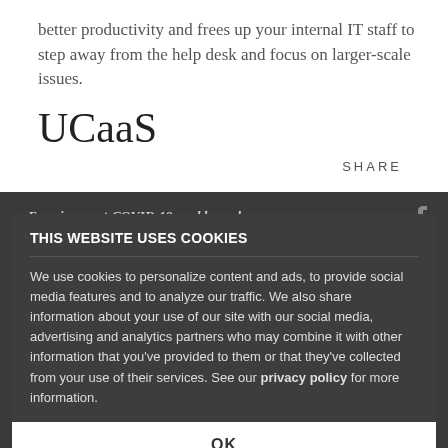better productivity and frees up your internal IT staff to step away from the help desk and focus on larger-scale issues.
UCaaS
SHARE
Even in a post-COVID-19 world, employees will continue working remotely, and employers of organizations simply see doing as community collaboration. And the ability to communicate and collaborate with team members allows employees to do their jobs successfully, collaboration platforms like unified communications as a service (UCaaS) give the modern workforce the flexibility they demand, communication functionality to their jobs successfully
THIS WEBSITE USES COOKIES
We use cookies to personalize content and ads, to provide social media features and to analyze our traffic. We also share information about your use of our site with our social media, advertising and analytics partners who may combine it with other information that you've provided to them or that they've collected from your use of their services. See our privacy policy for more information.
OK